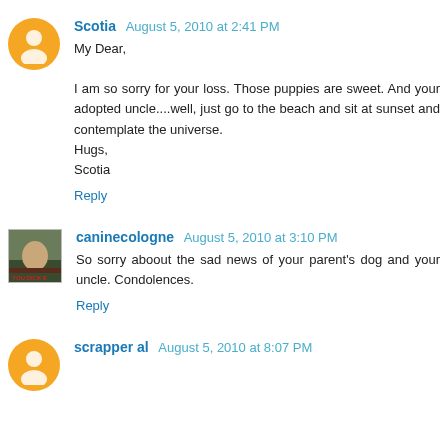Scotia  August 5, 2010 at 2:41 PM
My Dear,

I am so sorry for your loss. Those puppies are sweet. And your adopted uncle....well, just go to the beach and sit at sunset and contemplate the universe.
Hugs,
Scotia

Reply
caninecologne  August 5, 2010 at 3:10 PM
So sorry aboout the sad news of your parent's dog and your uncle. Condolences.

Reply
scrapper al  August 5, 2010 at 8:07 PM